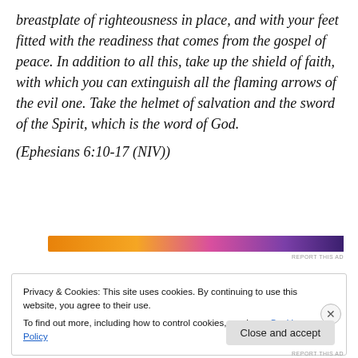breastplate of righteousness in place, and with your feet fitted with the readiness that comes from the gospel of peace. In addition to all this, take up the shield of faith, with which you can extinguish all the flaming arrows of the evil one. Take the helmet of salvation and the sword of the Spirit, which is the word of God.
(Ephesians 6:10-17 (NIV))
[Figure (other): Advertisement banner with gradient from orange to purple]
Privacy & Cookies: This site uses cookies. By continuing to use this website, you agree to their use.
To find out more, including how to control cookies, see here: Cookie Policy